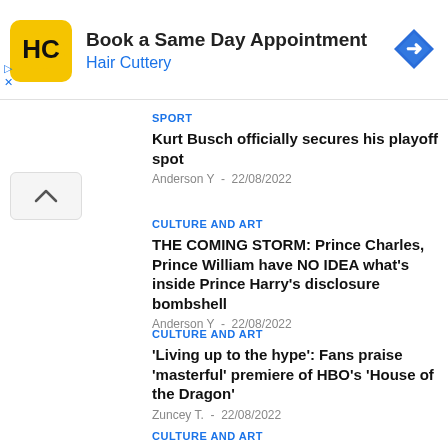[Figure (other): Hair Cuttery advertisement banner with yellow logo, text 'Book a Same Day Appointment / Hair Cuttery', and blue diamond direction icon]
SPORT
Kurt Busch officially secures his playoff spot
Anderson Y  -  22/08/2022
CULTURE AND ART
THE COMING STORM: Prince Charles, Prince William have NO IDEA what's inside Prince Harry's disclosure bombshell
Anderson Y  -  22/08/2022
CULTURE AND ART
'Living up to the hype': Fans praise 'masterful' premiere of HBO's 'House of the Dragon'
Zuncey T.  -  22/08/2022
CULTURE AND ART